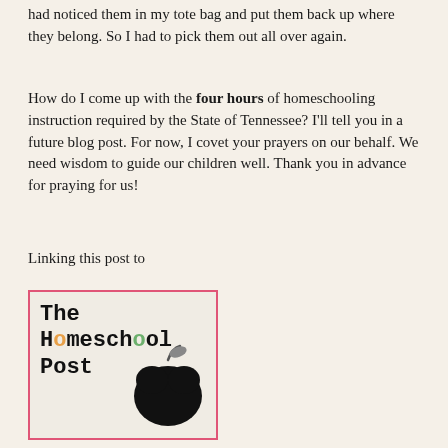had noticed them in my tote bag and put them back up where they belong. So I had to pick them out all over again.
How do I come up with the four hours of homeschooling instruction required by the State of Tennessee? I'll tell you in a future blog post. For now, I covet your prayers on our behalf. We need wisdom to guide our children well. Thank you in advance for praying for us!
Linking this post to
[Figure (logo): The Homeschool Post logo — text in Courier font with colored 'o' letters and a large black apple silhouette, framed in a pink/red border]